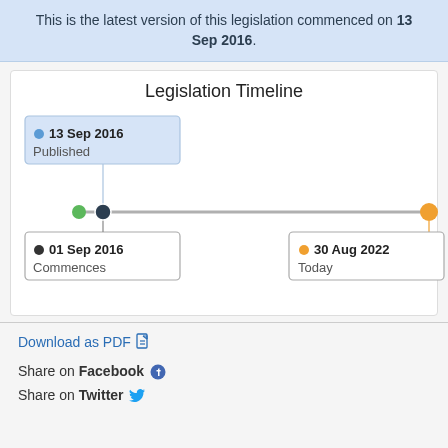This is the latest version of this legislation commenced on 13 Sep 2016.
[Figure (other): Legislation Timeline diagram showing a horizontal timeline with three points: a green dot at the far left, a dark dot labeled '13 Sep 2016 Published' (with a callout box above) and '01 Sep 2016 Commences' (with a callout box below), and an orange dot at the right labeled '30 Aug 2022 Today'.]
Download as PDF
Share on Facebook
Share on Twitter